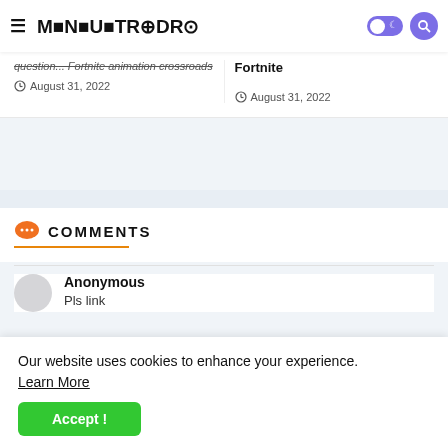MENSUTROPRO
question... Fortnite animation crossroads
Fortnite
August 31, 2022
August 31, 2022
COMMENTS
Anonymous
Pls link
Our website uses cookies to enhance your experience. Learn More
Accept !